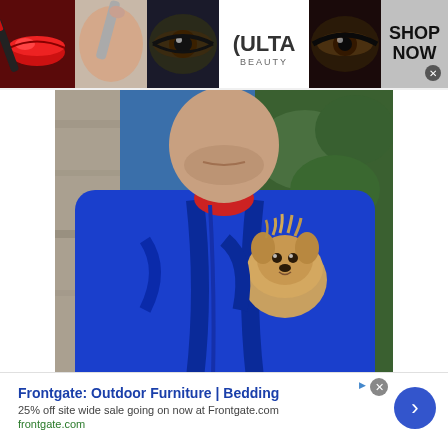[Figure (photo): Top banner advertisement for ULTA Beauty showing cosmetic imagery: red lips with lip gloss brush, woman applying makeup with brush, close-up of eye with dramatic makeup, ULTA Beauty logo on white background, close-up of woman's eyes with dramatic eye makeup, and 'SHOP NOW' text on grey background with close button]
[Figure (photo): Man wearing a blue hoodie/jacket with a small dog (Yorkshire Terrier or similar small breed) peeking out from inside the jacket, with greenery visible in the background]
Doubling down on special days
[Figure (infographic): Bottom advertisement banner for Frontgate showing 'Frontgate: Outdoor Furniture | Bedding', '25% off site wide sale going on now at Frontgate.com', 'frontgate.com' URL in green, with a blue circular arrow button on right side and close/ad choice icons]